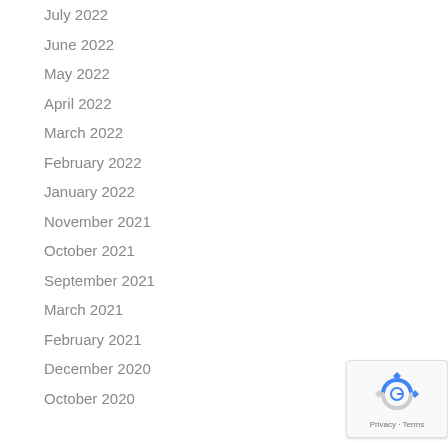July 2022
June 2022
May 2022
April 2022
March 2022
February 2022
January 2022
November 2021
October 2021
September 2021
March 2021
February 2021
December 2020
October 2020
[Figure (logo): Google reCAPTCHA badge with recycling-arrow icon and Privacy - Terms text]